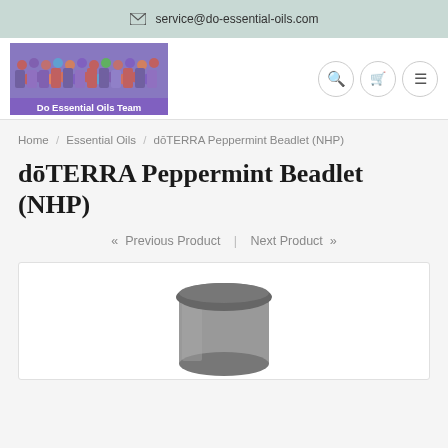service@do-essential-oils.com
[Figure (logo): Do Essential Oils Team logo with group photo and purple banner]
Home / Essential Oils / dōTERRA Peppermint Beadlet (NHP)
dōTERRA Peppermint Beadlet (NHP)
« Previous Product | Next Product »
[Figure (photo): Product photo of dōTERRA Peppermint Beadlet (NHP) container]